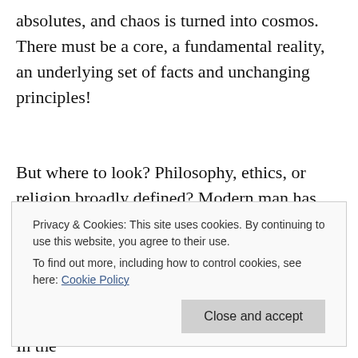absolutes, and chaos is turned into cosmos. There must be a core, a fundamental reality, an underlying set of facts and unchanging principles!
But where to look? Philosophy, ethics, or religion broadly defined? Modern man has done that but has heard discord instead of harmony.
Western man devotes himself to technology. In the
Privacy & Cookies: This site uses cookies. By continuing to use this website, you agree to their use. To find out more, including how to control cookies, see here: Cookie Policy
Close and accept